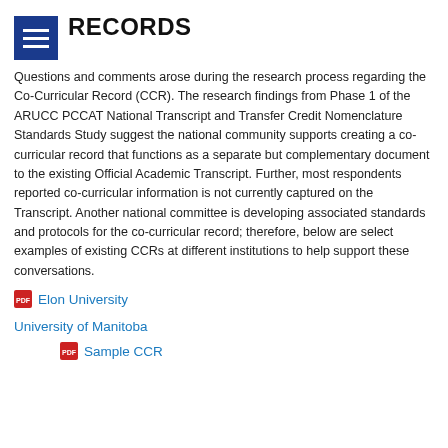RECORDS
Questions and comments arose during the research process regarding the Co-Curricular Record (CCR). The research findings from Phase 1 of the ARUCC PCCAT National Transcript and Transfer Credit Nomenclature Standards Study suggest the national community supports creating a co-curricular record that functions as a separate but complementary document to the existing Official Academic Transcript. Further, most respondents reported co-curricular information is not currently captured on the Transcript. Another national committee is developing associated standards and protocols for the co-curricular record; therefore, below are select examples of existing CCRs at different institutions to help support these conversations.
Elon University
University of Manitoba
Sample CCR